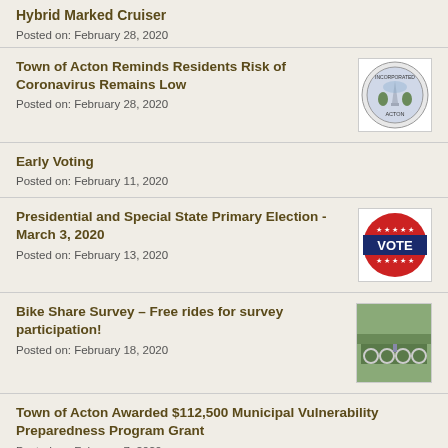Hybrid Marked Cruiser
Posted on: February 28, 2020
Town of Acton Reminds Residents Risk of Coronavirus Remains Low
Posted on: February 28, 2020
Early Voting
Posted on: February 11, 2020
Presidential and Special State Primary Election - March 3, 2020
Posted on: February 13, 2020
Bike Share Survey – Free rides for survey participation!
Posted on: February 18, 2020
Town of Acton Awarded $112,500 Municipal Vulnerability Preparedness Program Grant
Posted on: February 7, 2020